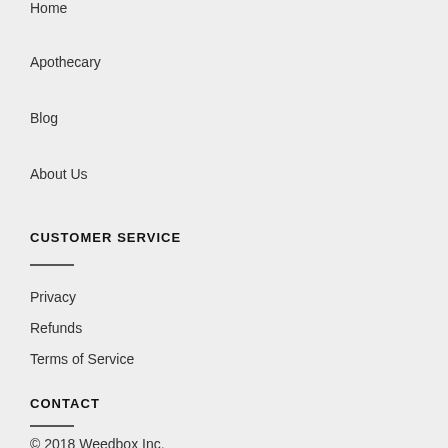Home
Apothecary
Blog
About Us
CUSTOMER SERVICE
Privacy
Refunds
Terms of Service
CONTACT
© 2018 Weedbox Inc.